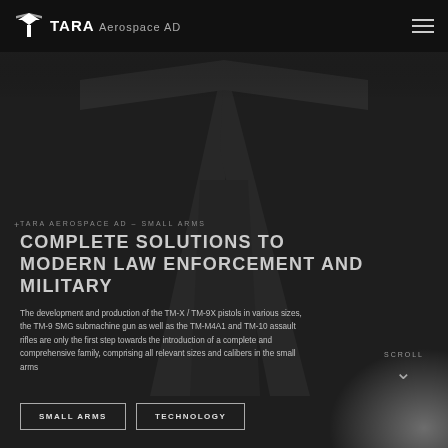TARA Aerospace AD
TARA AEROSPACE AD – SMALL ARMS
COMPLETE SOLUTIONS TO MODERN LAW ENFORCEMENT AND MILITARY
The development and production of the TM-X / TM-9X pistols in various sizes, the TM-9 SMG submachine gun as well as the TM-M4A1 and TM-10 assault rifles are only the first step towards the introduction of a complete and comprehensive family, comprising all relevant sizes and calibers in the small arms
SMALL ARMS
TECHNOLOGY